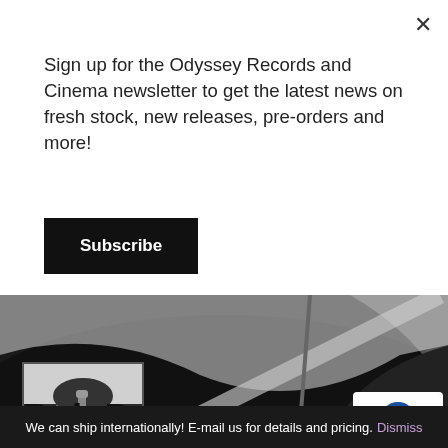Sign up for the Odyssey Records and Cinema newsletter to get the latest news on fresh stock, new releases, pre-orders and more!
Subscribe
[Figure (photo): Black and white close-up photo of a guitar or musical instrument with partial view of a person]
[Figure (photo): Album thumbnail showing Bob Dylan wearing sunglasses at a microphone in black and white]
Bob Dylan – The Booteg
We can ship internationally! E-mail us for details and pricing. Dismiss